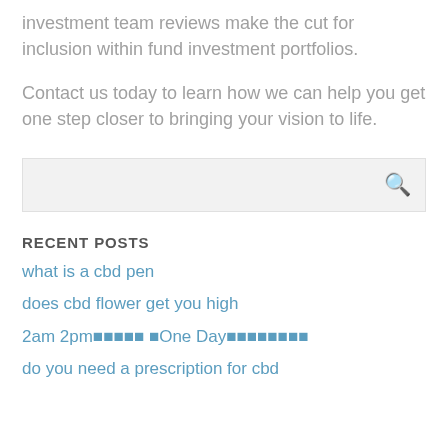investment team reviews make the cut for inclusion within fund investment portfolios.
Contact us today to learn how we can help you get one step closer to bringing your vision to life.
[Figure (other): Search input box with magnifying glass icon]
RECENT POSTS
what is a cbd pen
does cbd flower get you high
2am 2pm🔲🔲🔲🔲🔲 🔲One Day🔲🔲🔲🔲🔲🔲🔲🔲
do you need a prescription for cbd